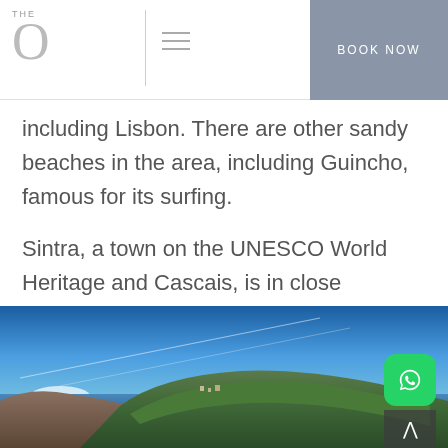THE O | BOOK NOW
including Lisbon. There are other sandy beaches in the area, including Guincho, famous for its surfing.
Sintra, a town on the UNESCO World Heritage and Cascais, is in close proximity to the hotel.
[Figure (photo): Coastal landscape photograph showing a rocky hillside/headland with green vegetation, buildings nestled on the slope, a blue sky with contrail streaks, and the sea in the background.]